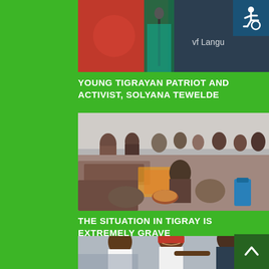[Figure (photo): Partial photo of a young Tigrayan woman at a microphone, wearing colorful clothing against a red backdrop with partial text visible]
[Figure (other): Wheelchair accessibility icon in white on dark blue background]
YOUNG TIGRAYAN PATRIOT AND ACTIVIST, SOLYANA TEWELDE
[Figure (photo): Photo showing a crowded tent or shelter with displaced people sitting and lying on the ground with belongings]
THE SITUATION IN TIGRAY IS EXTREMELY GRAVE
[Figure (photo): Photo of two men laughing and embracing outdoors, one wearing a red cap and white shirt, the other in a dark suit]